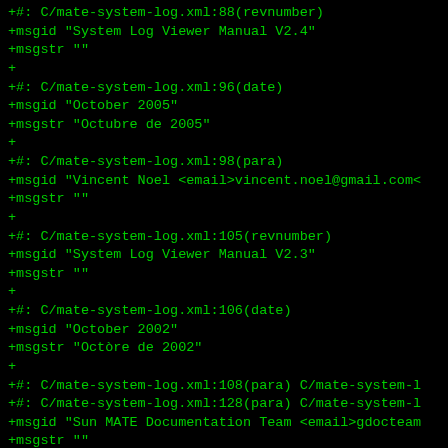+#: C/mate-system-log.xml:88(revnumber)
+msgid "System Log Viewer Manual V2.4"
+msgstr ""
+
+#: C/mate-system-log.xml:96(date)
+msgid "October 2005"
+msgstr "Octubre de 2005"
+
+#: C/mate-system-log.xml:98(para)
+msgid "Vincent Noel <email>vincent.noel@gmail.com<
+msgstr ""
+
+#: C/mate-system-log.xml:105(revnumber)
+msgid "System Log Viewer Manual V2.3"
+msgstr ""
+
+#: C/mate-system-log.xml:106(date)
+msgid "October 2002"
+msgstr "Octòre de 2002"
+
+#: C/mate-system-log.xml:108(para) C/mate-system-l
+#: C/mate-system-log.xml:128(para) C/mate-system-l
+msgid "Sun MATE Documentation Team <email>gdocteam
+msgstr ""
+
+#: C/mate-system-log.xml:115(revnumber)
+msgid "System Log Viewer Manual V2.2"
+msgstr ""
+
+#: C/mate-system-log.xml:116(date)
+msgid "August 2002"